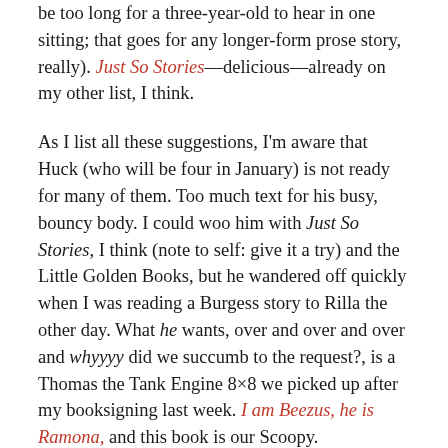(…going to be too long for a three-year-old to hear in one sitting; that goes for any longer-form prose story, really). Just So Stories—delicious—already on my other list, I think.
As I list all these suggestions, I'm aware that Huck (who will be four in January) is not ready for many of them. Too much text for his busy, bouncy body. I could woo him with Just So Stories, I think (note to self: give it a try) and the Little Golden Books, but he wandered off quickly when I was reading a Burgess story to Rilla the other day. What he wants, over and over and over and whyyyy did we succumb to the request?, is a Thomas the Tank Engine 8×8 we picked up after my booksigning last week. I am Beezus, he is Ramona, and this book is our Scoopy.
(I guarantee you no one involved in the publication of this Thomas book read it out loud even once, much less six times a day, every day for a week. I'm just saying.)